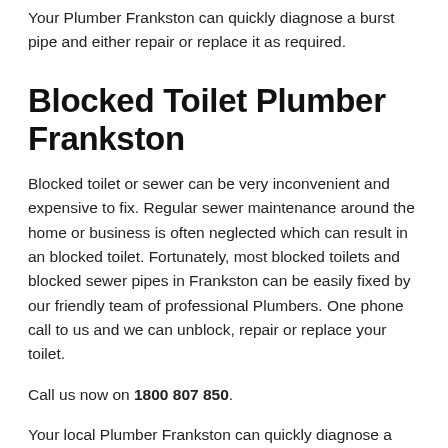Your Plumber Frankston can quickly diagnose a burst pipe and either repair or replace it as required.
Blocked Toilet Plumber Frankston
Blocked toilet or sewer can be very inconvenient and expensive to fix. Regular sewer maintenance around the home or business is often neglected which can result in an blocked toilet. Fortunately, most blocked toilets and blocked sewer pipes in Frankston can be easily fixed by our friendly team of professional Plumbers. One phone call to us and we can unblock, repair or replace your toilet.
Call us now on 1800 807 850.
Your local Plumber Frankston can quickly diagnose a blocked toilet and either repair or replace it as required.